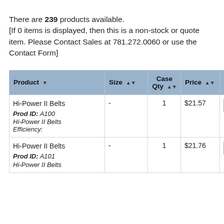There are 239 products available. [If 0 items is displayed, then this is a non-stock or quote item. Please Contact Sales at 781.272.0060 or use the Contact Form]
| Product | Size | Case Qty | Price | Order Qty |
| --- | --- | --- | --- | --- |
| Hi-Power II Belts
Prod ID: A100
Hi-Power II Belts
Efficiency: | - | 1 | $21.57 |  |
| Hi-Power II Belts
Prod ID: A101
Hi-Power II Belts | - | 1 | $21.76 |  |